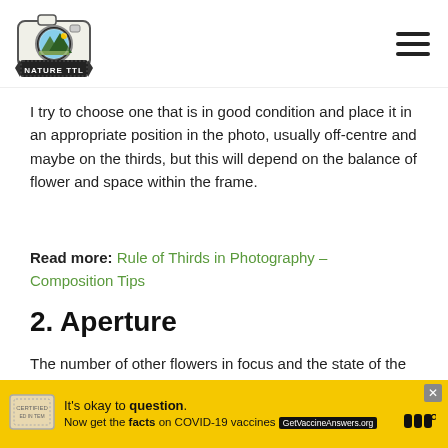[Figure (logo): Nature TTL logo: camera with landscape scene inside lens, text 'NATURE TTL' on badge below]
I try to choose one that is in good condition and place it in an appropriate position in the photo, usually off-centre and maybe on the thirds, but this will depend on the balance of flower and space within the frame.
Read more: Rule of Thirds in Photography – Composition Tips
2. Aperture
The number of other flowers in focus and the state of the background will partly be
[Figure (infographic): Ad banner: yellow background, COVID-19 vaccine info ad. Text: 'It's okay to question. Now get the facts on COVID-19 vaccines GetVaccineAnswers.org']